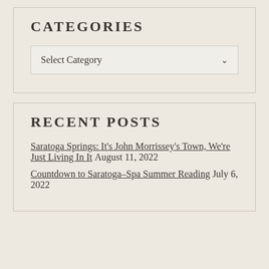CATEGORIES
Select Category
RECENT POSTS
Saratoga Springs: It's John Morrissey's Town, We're Just Living In It August 11, 2022
Countdown to Saratoga–Spa Summer Reading July 6, 2022